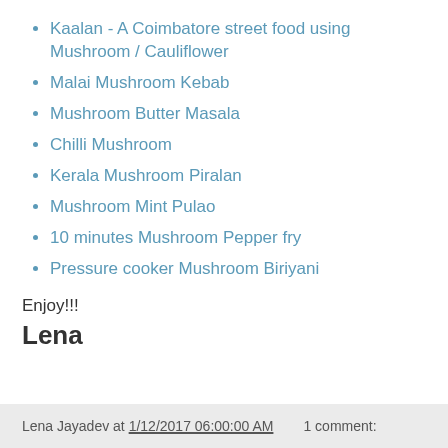Kaalan - A Coimbatore street food using Mushroom / Cauliflower
Malai Mushroom Kebab
Mushroom Butter Masala
Chilli Mushroom
Kerala Mushroom Piralan
Mushroom Mint Pulao
10 minutes Mushroom Pepper fry
Pressure cooker Mushroom Biriyani
Enjoy!!!
Lena
Lena Jayadev at 1/12/2017 06:00:00 AM    1 comment: